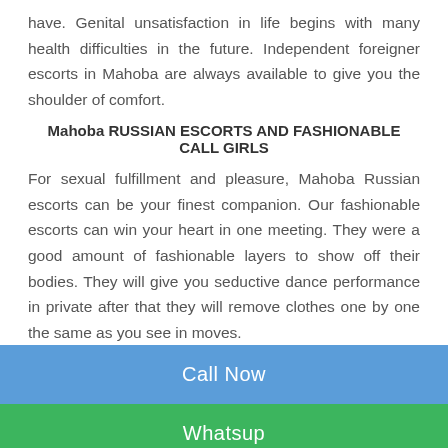have. Genital unsatisfaction in life begins with many health difficulties in the future. Independent foreigner escorts in Mahoba are always available to give you the shoulder of comfort.
Mahoba RUSSIAN ESCORTS AND FASHIONABLE CALL GIRLS
For sexual fulfillment and pleasure, Mahoba Russian escorts can be your finest companion. Our fashionable escorts can win your heart in one meeting. They were a good amount of fashionable layers to show off their bodies. They will give you seductive dance performance in private after that they will remove clothes one by one the same as you see in moves.
Call Now
Whatsup